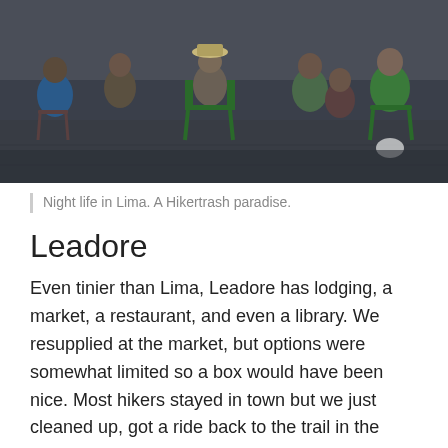[Figure (photo): Outdoor night scene with a group of people sitting in chairs on a paved area, with a dark building wall behind them. People are in casual clothes; some wear hats. Green chairs visible. Evening/night ambiance.]
Night life in Lima. A Hikertrash paradise.
Leadore
Even tinier than Lima, Leadore has lodging, a market, a restaurant, and even a library. We resupplied at the market, but options were somewhat limited so a box would have been nice. Most hikers stayed in town but we just cleaned up, got a ride back to the trail in the evening and camped near the road, eating sandwiches from the market. As in Lima, the owner of the inn will